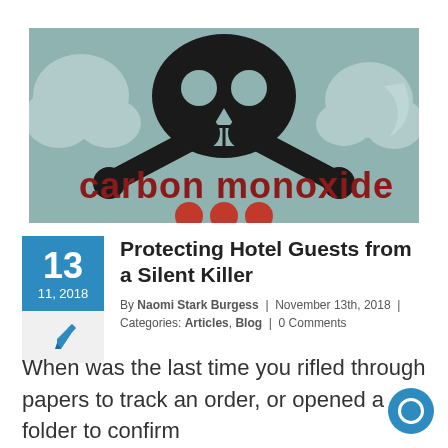[Figure (illustration): Skull and crossbones graphic on a teal/muted green background with the text 'carbon monoxide' in dark red letters. Stylized warning image.]
Protecting Hotel Guests from a Silent Killer
By Naomi Stark Burgess | November 13th, 2018 | Categories: Articles, Blog | 0 Comments
When was the last time you rifled through papers to track an order, or opened a folder to confirm